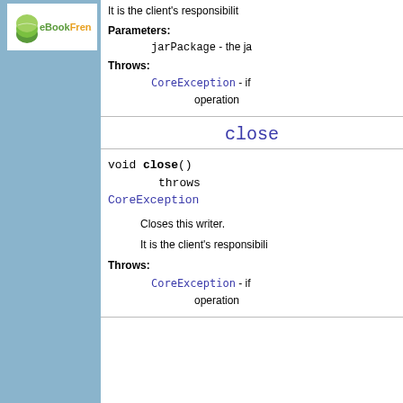[Figure (logo): eBookFrenzy logo with book icon]
It is the client's responsibil...
Parameters: jarPackage - the ja...
Throws: CoreException - if operation
close
void close() throws CoreException
Closes this writer.
It is the client's responsibili...
Throws: CoreException - if operation